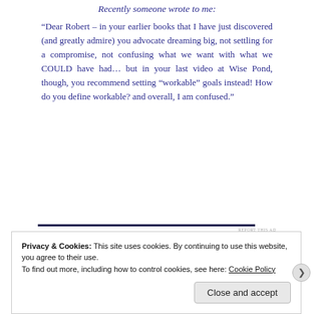Recently someone wrote to me:
“Dear Robert – in your earlier books that I have just discovered (and greatly admire) you advocate dreaming big, not settling for a compromise, not confusing what we want with what we COULD have had… but in your last video at Wise Pond, though, you recommend setting “workable” goals instead! How do you define workable? and overall, I am confused.”
Privacy & Cookies: This site uses cookies. By continuing to use this website, you agree to their use.
To find out more, including how to control cookies, see here: Cookie Policy